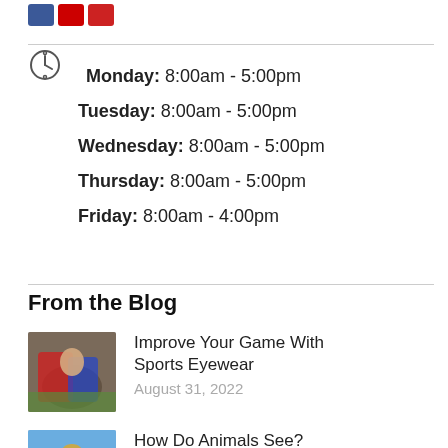[Figure (other): Three social media icon buttons (blue Facebook, red YouTube, red other)]
Monday: 8:00am - 5:00pm
Tuesday: 8:00am - 5:00pm
Wednesday: 8:00am - 5:00pm
Thursday: 8:00am - 5:00pm
Friday: 8:00am - 4:00pm
From the Blog
[Figure (photo): Athletes playing lacrosse/field sport, player in red uniform]
Improve Your Game With Sports Eyewear
August 31, 2022
[Figure (photo): Eagle/hawk bird close-up]
How Do Animals See?